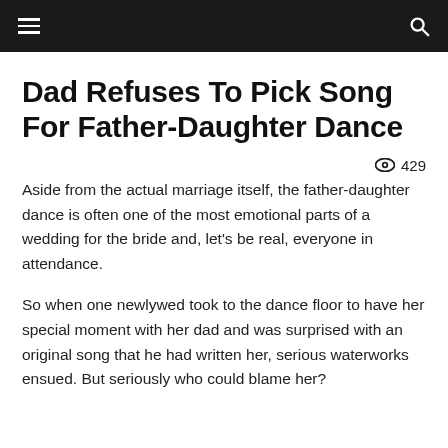☰  🔍
Dad Refuses To Pick Song For Father-Daughter Dance
👁 429
Aside from the actual marriage itself, the father-daughter dance is often one of the most emotional parts of a wedding for the bride and, let's be real, everyone in attendance.
So when one newlywed took to the dance floor to have her special moment with her dad and was surprised with an original song that he had written her, serious waterworks ensued. But seriously who could blame her?